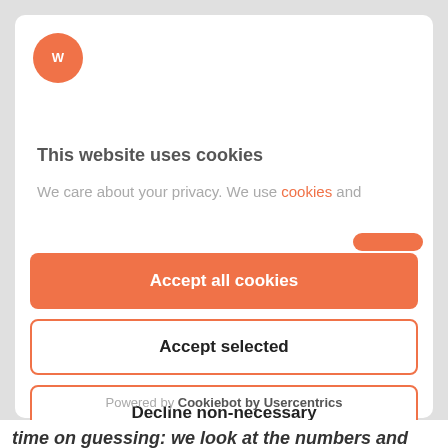[Figure (logo): Orange circular logo with stylized 'W' icon in white]
This website uses cookies
We care about your privacy. We use cookies and
Accept all cookies
Accept selected
Decline non-necessary
Powered by Cookiebot by Usercentrics
time on guessing: we look at the numbers and